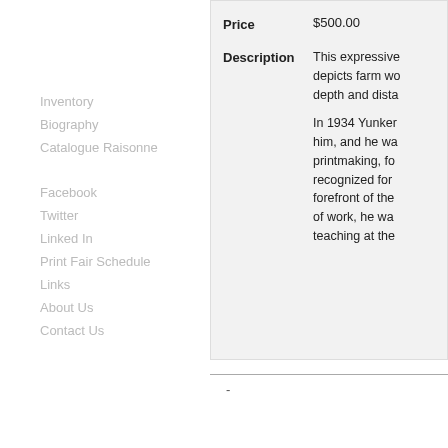Inventory
Biography
Catalogue Raisonne
Facebook
Twitter
Linked In
Print Fair Schedule
Links
About Us
Contact Us
| Field | Value |
| --- | --- |
| Price | $500.00 |
| Description | This expressive depicts farm we depth and dista

In 1934 Yunker him, and he wa printmaking, fo recognized for forefront of the of work, he wa teaching at the |
-